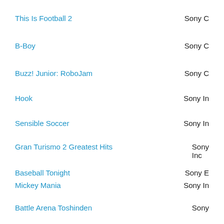This Is Football 2 | Sony C
B-Boy | Sony C
Buzz! Junior: RoboJam | Sony C
Hook | Sony In
Sensible Soccer | Sony In
Gran Turismo 2 Greatest Hits | Sony Inc
Baseball Tonight | Sony E
Mickey Mania | Sony In
Battle Arena Toshinden | Sony
Warhawk | Sony
Help Charity Compilation | Sony C